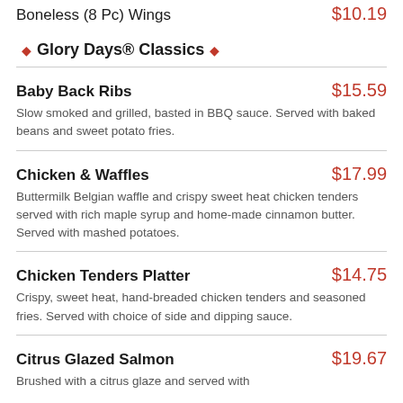Boneless (8 Pc) Wings — $10.19
Glory Days® Classics
Baby Back Ribs $15.59 — Slow smoked and grilled, basted in BBQ sauce. Served with baked beans and sweet potato fries.
Chicken & Waffles $17.99 — Buttermilk Belgian waffle and crispy sweet heat chicken tenders served with rich maple syrup and home-made cinnamon butter. Served with mashed potatoes.
Chicken Tenders Platter $14.75 — Crispy, sweet heat, hand-breaded chicken tenders and seasoned fries. Served with choice of side and dipping sauce.
Citrus Glazed Salmon $19.67 — Brushed with a citrus glaze and served with